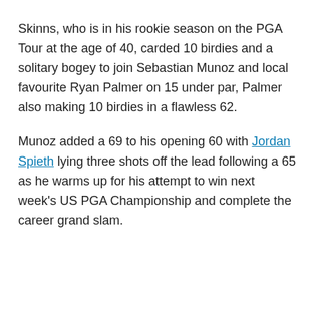Skinns, who is in his rookie season on the PGA Tour at the age of 40, carded 10 birdies and a solitary bogey to join Sebastian Munoz and local favourite Ryan Palmer on 15 under par, Palmer also making 10 birdies in a flawless 62.
Munoz added a 69 to his opening 60 with Jordan Spieth lying three shots off the lead following a 65 as he warms up for his attempt to win next week's US PGA Championship and complete the career grand slam.